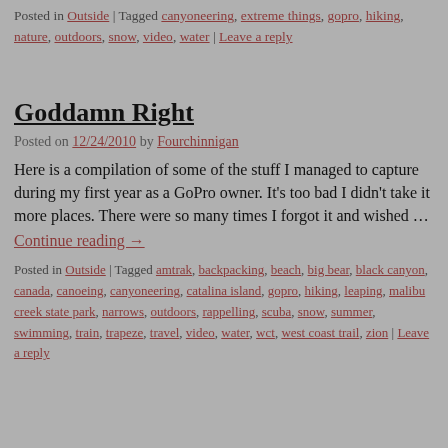Posted in Outside | Tagged canyoneering, extreme things, gopro, hiking, nature, outdoors, snow, video, water | Leave a reply
Goddamn Right
Posted on 12/24/2010 by Fourchinnigan
Here is a compilation of some of the stuff I managed to capture during my first year as a GoPro owner. It's too bad I didn't take it more places. There were so many times I forgot it and wished …
Continue reading →
Posted in Outside | Tagged amtrak, backpacking, beach, big bear, black canyon, canada, canoeing, canyoneering, catalina island, gopro, hiking, leaping, malibu creek state park, narrows, outdoors, rappelling, scuba, snow, summer, swimming, train, trapeze, travel, video, water, wct, west coast trail, zion | Leave a reply